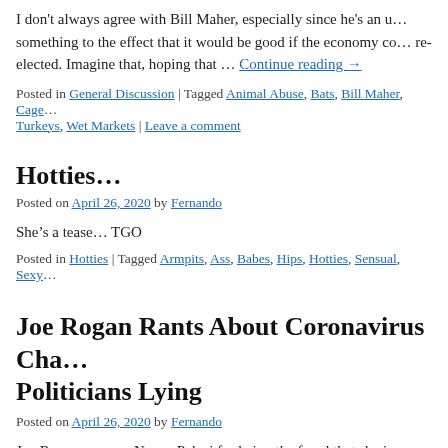I don't always agree with Bill Maher, especially since he's an u... something to the effect that it would be good if the economy co... re-elected. Imagine that, hoping that … Continue reading →
Posted in General Discussion | Tagged Animal Abuse, Bats, Bill Maher, Cage... Turkeys, Wet Markets | Leave a comment
Hotties…
Posted on April 26, 2020 by Fernando
She's a tease… TGO
Posted in Hotties | Tagged Armpits, Ass, Babes, Hips, Hotties, Sensual, Sexy...
Joe Rogan Rants About Coronavirus Cha... Politicians Lying
Posted on April 26, 2020 by Fernando
Joe Rogan exposes Nancy Pelosi for being the fraud that she is.